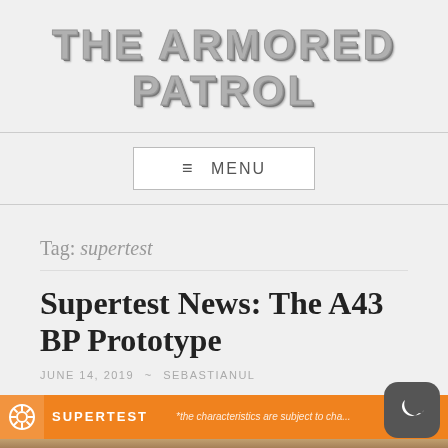THE ARMORED PATROL
≡ MENU
Tag: supertest
Supertest News: The A43 BP Prototype
JUNE 14, 2019 ~ SEBASTIANUL
[Figure (screenshot): Orange SUPERTEST banner with gear icon, text 'SUPERTEST' and note '*the characteristics are subject to change', partial tank image below]